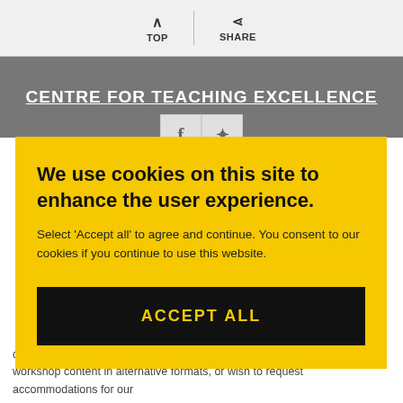TOP   SHARE
CENTRE FOR TEACHING EXCELLENCE
[Figure (screenshot): Facebook and Twitter social media icon buttons]
We use cookies on this site to enhance the user experience.
Select 'Accept all' to agree and continue. You consent to our cookies if you continue to use this website.
ACCEPT ALL
concerning access, such as parking, building layouts, or obtaining workshop content in alternative formats, or wish to request accommodations for our